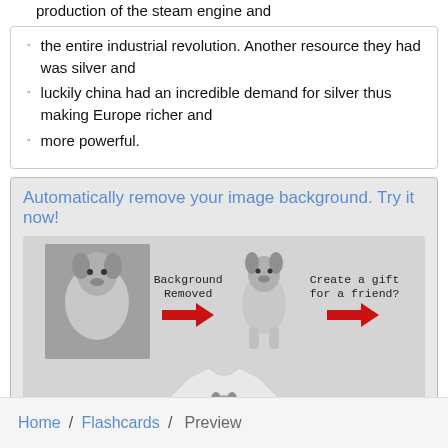production of the steam engine and
the entire industrial revolution. Another resource they had was silver and
luckily china had an incredible demand for silver thus making Europe richer and
more powerful.
[Figure (photo): Advertisement for remove-image-background.com showing a dog photo with background removed and placed on a t-shirt, with text 'Automatically remove your image background. Try it now!' and URL https://remove-image-background.com]
Home / Flashcards / Preview